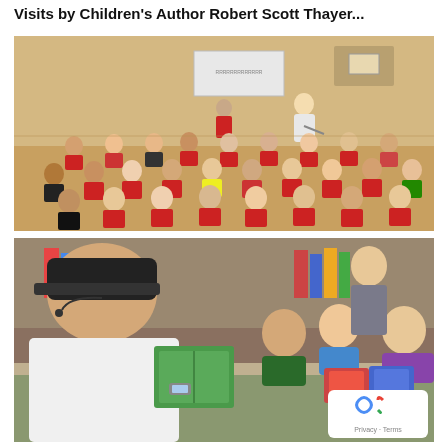Visits by Children's Author Robert Scott Thayer...
[Figure (photo): Large group of elementary school children sitting on gymnasium floor, facing a presenter standing at the front. Adults and students wearing red shirts visible in the background near a whiteboard.]
[Figure (photo): Man wearing a black cap and headset microphone reading from a green book to a group of young students seated at a table. Children look on attentively. A privacy/reCAPTCHA badge is visible in the lower right corner.]